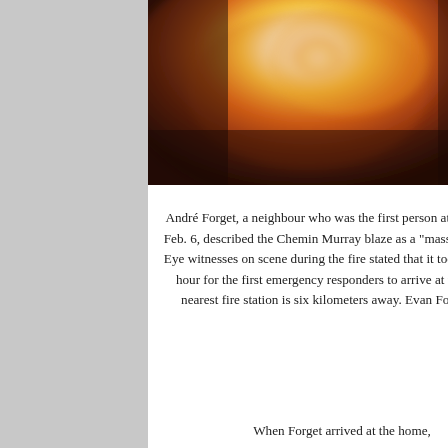[Figure (photo): A blurry photograph of a large fire or blaze, showing orange and red flames with a bright white-yellow center glow against a dark background.]
André Forget, a neighbour who was the first person at the home on Feb. 6, described the Chemin Murray blaze as a "massive inferno."  Eye witnesses on scene during the fire stated that it took over a half hour for the first emergency responders to arrive at the fire, the nearest fire station is six kilometers away. Evan Forget photo
When Forget arrived at the home,